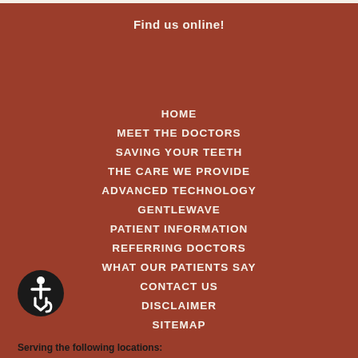Find us online!
HOME
MEET THE DOCTORS
SAVING YOUR TEETH
THE CARE WE PROVIDE
ADVANCED TECHNOLOGY
GENTLEWAVE
PATIENT INFORMATION
REFERRING DOCTORS
WHAT OUR PATIENTS SAY
CONTACT US
DISCLAIMER
SITEMAP
[Figure (illustration): Accessibility wheelchair icon in a black circle]
Serving the following locations: